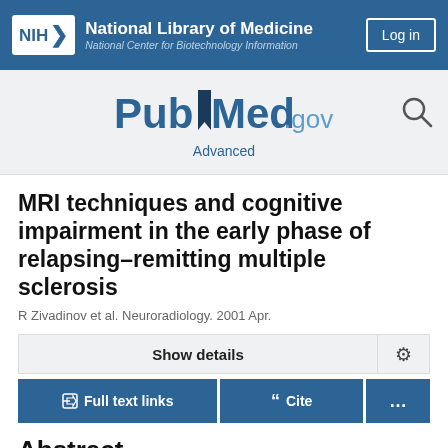NIH National Library of Medicine National Center for Biotechnology Information
[Figure (logo): PubMed.gov logo with search icon and Advanced link]
MRI techniques and cognitive impairment in the early phase of relapsing–remitting multiple sclerosis
R Zivadinov et al. Neuroradiology. 2001 Apr.
Show details
Full text links
Cite
Abstract